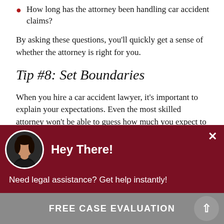How long has the attorney been handling car accident claims?
By asking these questions, you'll quickly get a sense of whether the attorney is right for you.
Tip #8: Set Boundaries
When you hire a car accident lawyer, it's important to explain your expectations. Even the most skilled attorney won't be able to guess how much you expect to receive from your case. Therefore, it's best to discuss the following issues with your
[Figure (screenshot): Chat widget overlay with red background, avatar photo of a woman, heading 'Hey There!', message 'Need legal assistance? Get help instantly!', and a close button (×).]
FREE CASE EVALUATION